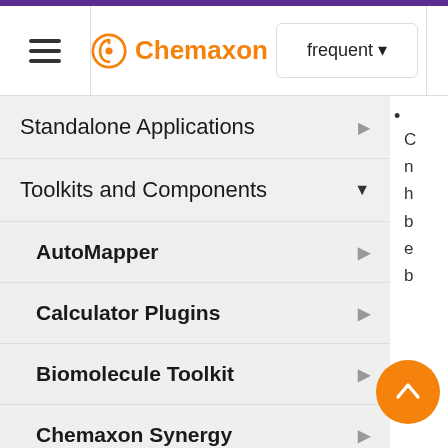Chemaxon — frequent — search
Standalone Applications
Toolkits and Components
AutoMapper
Calculator Plugins
Biomolecule Toolkit
Chemaxon Synergy
Document to Structure
JChem Base
JChem Choral